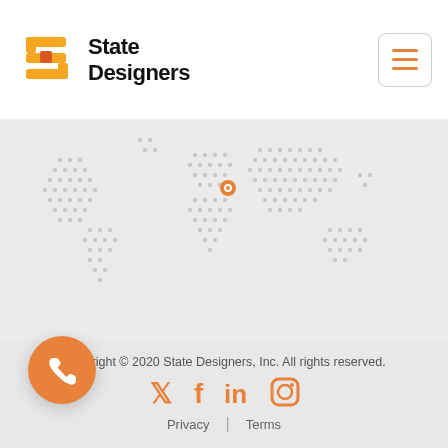[Figure (logo): State Designers logo with orange S icon and black text]
[Figure (map): Dotted world map on light gray background with orange location pin marker over Europe/Middle East region]
Copyright © 2020 State Designers, Inc. All rights reserved.
[Figure (infographic): Social media icons: Twitter, Facebook, LinkedIn, Instagram in orange]
Privacy | Terms